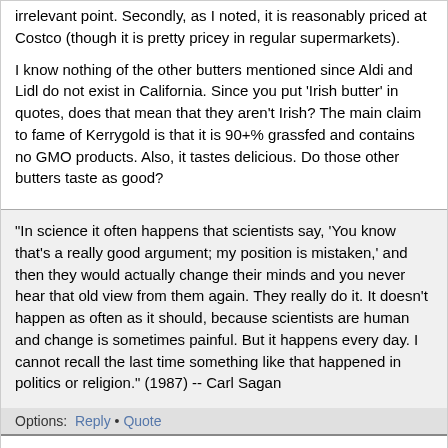irrelevant point. Secondly, as I noted, it is reasonably priced at Costco (though it is pretty pricey in regular supermarkets).
I know nothing of the other butters mentioned since Aldi and Lidl do not exist in California. Since you put 'Irish butter' in quotes, does that mean that they aren't Irish? The main claim to fame of Kerrygold is that it is 90+% grassfed and contains no GMO products. Also, it tastes delicious. Do those other butters taste as good?
"In science it often happens that scientists say, 'You know that's a really good argument; my position is mistaken,' and then they would actually change their minds and you never hear that old view from them again. They really do it. It doesn't happen as often as it should, because scientists are human and change is sometimes painful. But it happens every day. I cannot recall the last time something like that happened in politics or religion." (1987) -- Carl Sagan
Options:  Reply • Quote
Re: A better butter...?
Posted by: NewtonMP2100
Date: March 10, 2021 01:54PM
....I should clarify....there are issues about the what is fed to the cows [ Kerrygold ]......you can believe or not believe it.....
....I'm not disparaging the Kerrygold.....it is a great tasting butter....i